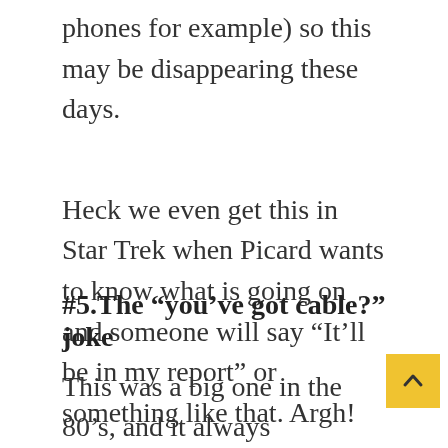phones for example) so this may be disappearing these days.
Heck we even get this in Star Trek when Picard wants to know what is going on and someone will say “It’ll be in my report” or something like that. Argh!
#5.The “you’ve got cable?” joke
This was a big one in the 80’s, and it always